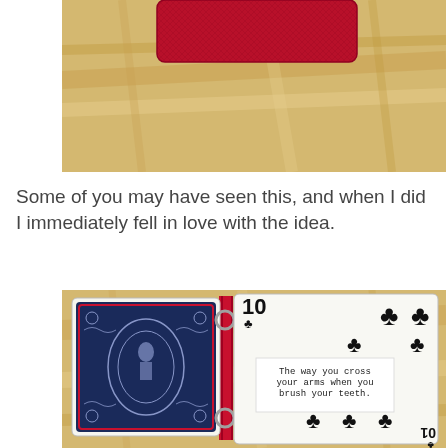[Figure (photo): Top portion of a red fabric box/case sitting on a light wood surface]
Some of you may have seen this, and when I did I immediately fell in love with the idea.
[Figure (photo): A deck of playing cards bound together with two binder rings. The left card shows the blue Bicycle card back design. The right card is the 10 of clubs, with a handwritten note that reads: The way you cross your arms when you brush your teeth.]